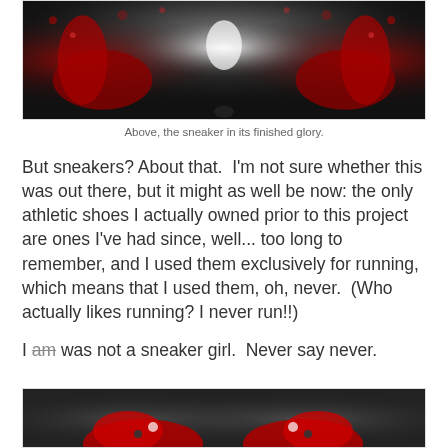[Figure (photo): Artistic mirror-symmetric photo of red and black sneakers with glittery rain/bokeh background, dark atmospheric setting]
Above, the sneaker in its finished glory.
But sneakers? About that.  I'm not sure whether this was out there, but it might as well be now: the only athletic shoes I actually owned prior to this project are ones I've had since, well... too long to remember, and I used them exclusively for running, which means that I used them, oh, never.  (Who actually likes running? I never run!!)
I am was not a sneaker girl.  Never say never.
[Figure (photo): Close-up photo of red and black sneakers with bokeh background, dark atmospheric setting]